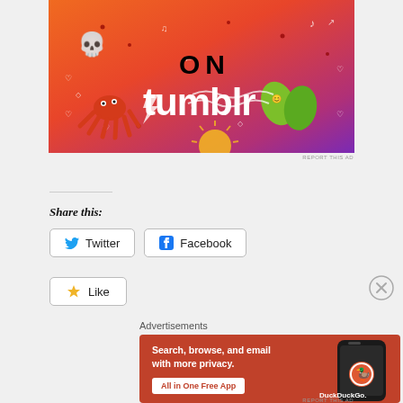[Figure (illustration): Tumblr advertisement banner with orange-to-purple gradient background, doodle illustrations (skull, octopus, leaves), and text 'ON tumblr' in bold stylized font]
REPORT THIS AD
Share this:
Twitter
Facebook
Like
Advertisements
[Figure (illustration): DuckDuckGo advertisement banner with orange-red background. Text: 'Search, browse, and email with more privacy. All in One Free App'. Shows a smartphone with DuckDuckGo logo and branding.]
REPORT THIS AD